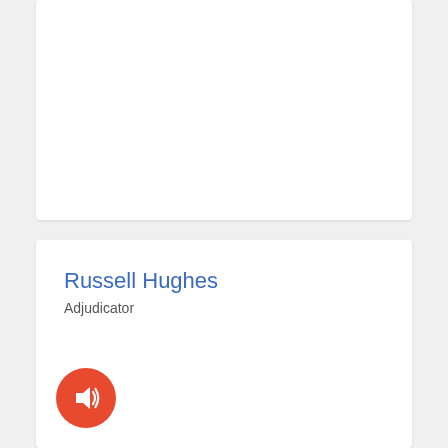[Figure (other): Top white card panel, mostly empty white space]
Russell Hughes
Adjudicator
[Figure (other): Red circular audio/sound button icon with speaker symbol]